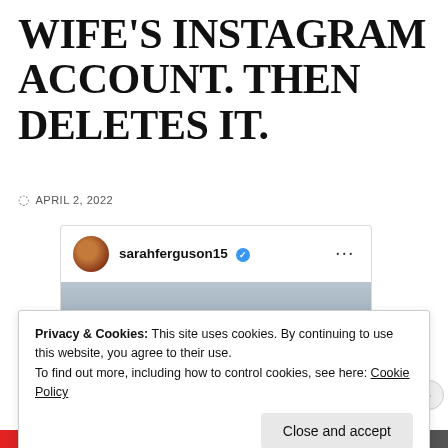WIFE'S INSTAGRAM ACCOUNT. THEN DELETES IT.
APRIL 2, 2022
[Figure (screenshot): Instagram embed showing sarahferguson15 (verified) username with avatar and a photo of a naval warship against a grey sky]
Privacy & Cookies: This site uses cookies. By continuing to use this website, you agree to their use.
To find out more, including how to control cookies, see here: Cookie Policy
Close and accept